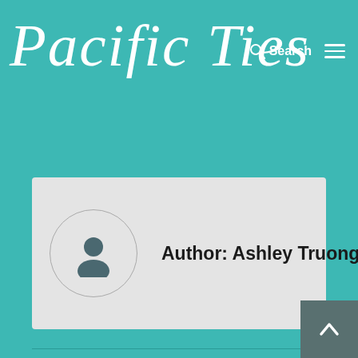Pacific Ties
Author: Ashley Truong
PREVIOUS
IBSA Fundraiser
NEXT
The 83rd Annual Academy Award